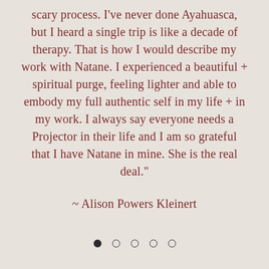scary process. I've never done Ayahuasca, but I heard a single trip is like a decade of therapy. That is how I would describe my work with Natane. I experienced a beautiful + spiritual purge, feeling lighter and able to embody my full authentic self in my life + in my work. I always say everyone needs a Projector in their life and I am so grateful that I have Natane in mine. She is the real deal."
~ Alison Powers Kleinert